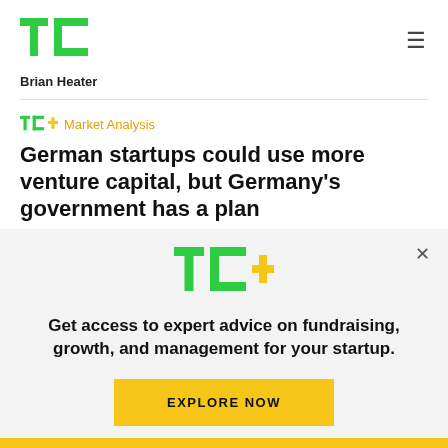TechCrunch logo and hamburger menu
Brian Heater
TC+ Market Analysis
German startups could use more venture capital, but Germany’s government has a plan
Anna Heim
[Figure (infographic): TC+ promotional ad overlay with logo, tagline, and Explore Now button]
Get access to expert advice on fundraising, growth, and management for your startup.